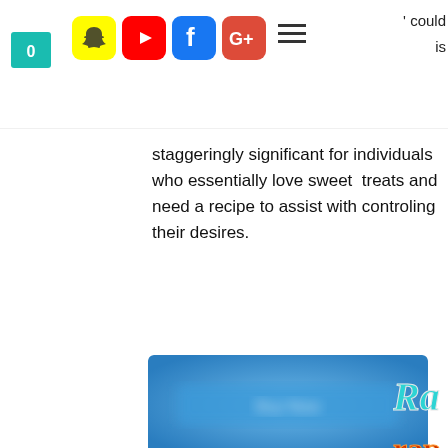[Figure (screenshot): Website header with social media icons: Snapchat (yellow), YouTube (red), Facebook (blue), Google+ (red-orange), plus hamburger menu. Partial text top-right reading 'could' and 'is'. Teal shopping bag icon left.]
staggeringly significant for individuals who essentially love sweet  treats and need a recipe to assist with controling their desires.
[Figure (screenshot): Blurred social sharing widget area with blue background and social share buttons below.]
[Figure (logo): Partial decorative logo text on right side reading 'Ra' and 'rap' in stylized teal/red lettering.]
0   Share
Comments